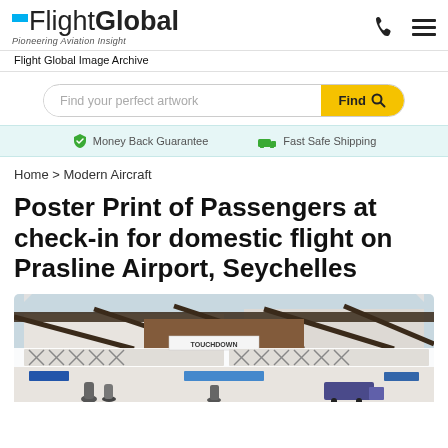FlightGlobal — Pioneering Aviation Insight
Flight Global Image Archive
Find your perfect artwork — Find button
Money Back Guarantee   Fast Safe Shipping
Home > Modern Aircraft
Poster Print of Passengers at check-in for domestic flight on Prasline Airport, Seychelles
[Figure (photo): Photograph of Prasline Airport terminal building with overhead covered walkway, balcony railings, and 'TOUCHDOWN' sign visible. Outdoor airport scene in Seychelles.]